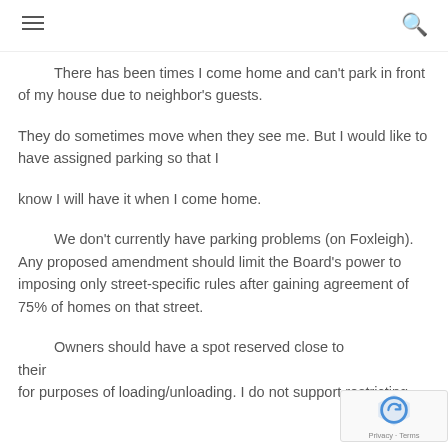There has been times I come home and can't park in front of my house due to neighbor's guests.
They do sometimes move when they see me. But I would like to have assigned parking so that I
know I will have it when I come home.
We don't currently have parking problems (on Foxleigh). Any proposed amendment should limit the Board's power to imposing only street-specific rules after gaining agreement of 75% of homes on that street.
Owners should have a spot reserved close to their for purposes of loading/unloading. I do not support restricting